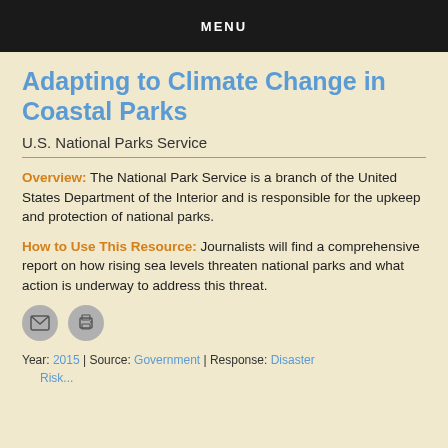MENU
Adapting to Climate Change in Coastal Parks
U.S. National Parks Service
Overview: The National Park Service is a branch of the United States Department of the Interior and is responsible for the upkeep and protection of national parks.
How to Use This Resource: Journalists will find a comprehensive report on how rising sea levels threaten national parks and what action is underway to address this threat.
[Figure (other): Email and print icon buttons]
Year: 2015 | Source: Government | Response: Disaster Risk...